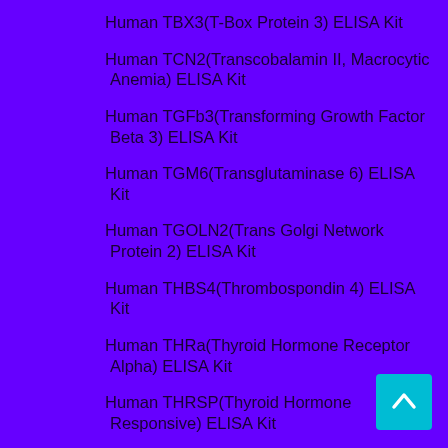Human TBX3(T-Box Protein 3) ELISA Kit
Human TCN2(Transcobalamin II, Macrocytic Anemia) ELISA Kit
Human TGFb3(Transforming Growth Factor Beta 3) ELISA Kit
Human TGM6(Transglutaminase 6) ELISA Kit
Human TGOLN2(Trans Golgi Network Protein 2) ELISA Kit
Human THBS4(Thrombospondin 4) ELISA Kit
Human THRa(Thyroid Hormone Receptor Alpha) ELISA Kit
Human THRSP(Thyroid Hormone Responsive) ELISA Kit
Human TLN2(Talin 2) ELISA Kit
Human TMPRSS4(Transmembrane Protease, Serine...